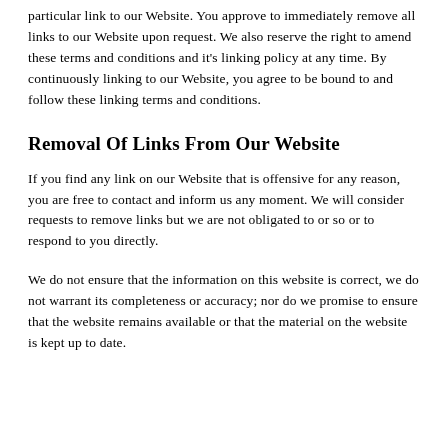particular link to our Website. You approve to immediately remove all links to our Website upon request. We also reserve the right to amend these terms and conditions and it's linking policy at any time. By continuously linking to our Website, you agree to be bound to and follow these linking terms and conditions.
Removal Of Links From Our Website
If you find any link on our Website that is offensive for any reason, you are free to contact and inform us any moment. We will consider requests to remove links but we are not obligated to or so or to respond to you directly.
We do not ensure that the information on this website is correct, we do not warrant its completeness or accuracy; nor do we promise to ensure that the website remains available or that the material on the website is kept up to date.